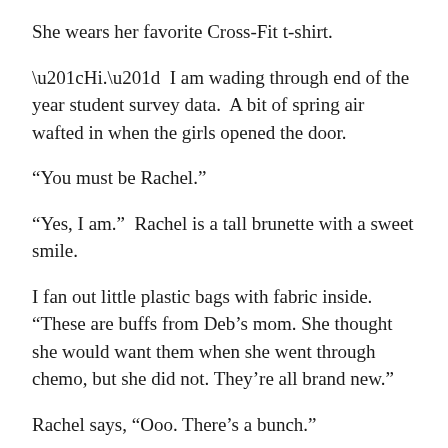She wears her favorite Cross-Fit t-shirt.
“Hi.”  I am wading through end of the year student survey data.  A bit of spring air wafted in when the girls opened the door.
“You must be Rachel.”
“Yes, I am.”  Rachel is a tall brunette with a sweet smile.
I fan out little plastic bags with fabric inside. “These are buffs from Deb’s mom. She thought she would want them when she went through chemo, but she did not. They’re all brand new.”
Rachel says, “Ooo. There’s a bunch.”